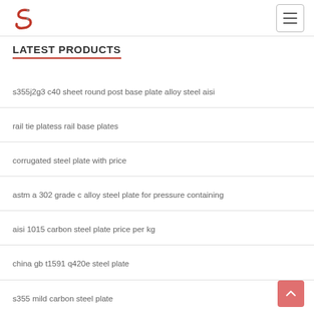Logo and navigation menu
LATEST PRODUCTS
s355j2g3 c40 sheet round post base plate alloy steel aisi
rail tie platess rail base plates
corrugated steel plate with price
astm a 302 grade c alloy steel plate for pressure containing
aisi 1015 carbon steel plate price per kg
china gb t1591 q420e steel plate
s355 mild carbon steel plate
22mm mild steel plate price 4340 steel plate